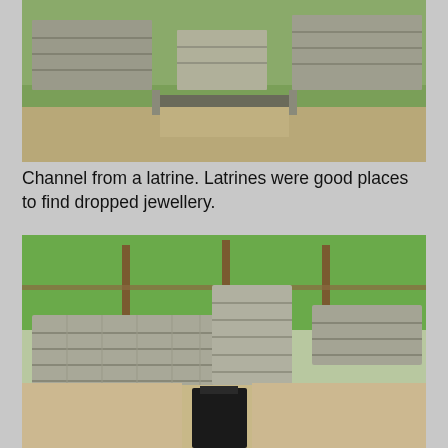[Figure (photo): Archaeological site showing a channel from a latrine — stone walls with rectangular cut stones, water channel visible in foreground, sandy/gravelly ground]
Channel from a latrine. Latrines were good places to find dropped jewellery.
[Figure (photo): Close-up view of Roman latrine stone structure — thick dry-stone walls in L-shape, dark channel/drain opening visible at bottom centre, green grass and wooden fence posts in background]